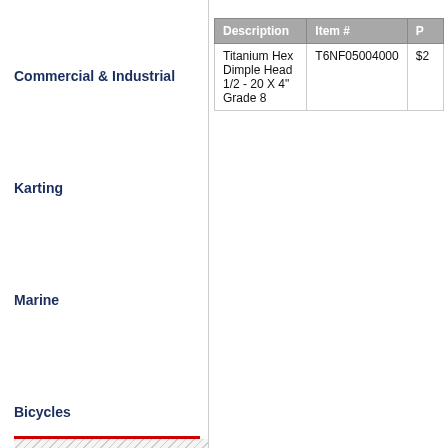Commercial & Industrial
Karting
Marine
Bicycles
| Description | Item # | P... |
| --- | --- | --- |
| Titanium Hex Dimple Head 1/2 - 20 X 4" Grade 8 | T6NF05004000 | $2... |
Download a catalog
» Sprint & Midget
» Road Race Flyer
» Motor Cross Flyer